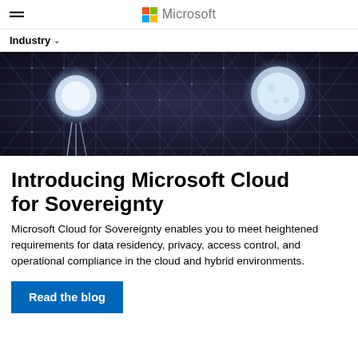Microsoft
Industry ∨
[Figure (illustration): Dark background hero image showing a hexagonal mesh network with glowing white sphere nodes on left and right, connected by white grid lines, giving a digital/cloud technology aesthetic.]
Introducing Microsoft Cloud for Sovereignty
Microsoft Cloud for Sovereignty enables you to meet heightened requirements for data residency, privacy, access control, and operational compliance in the cloud and hybrid environments.
Read the blog